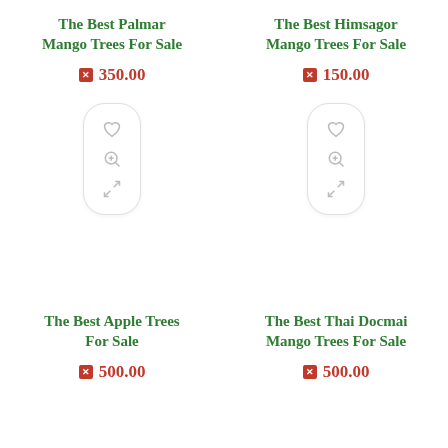The Best Palmar Mango Trees For Sale
350.00
[Figure (illustration): Action pill with heart, zoom, and shuffle icons]
The Best Himsagor Mango Trees For Sale
150.00
[Figure (illustration): Action pill with heart, zoom, and shuffle icons]
The Best Apple Trees For Sale
500.00
The Best Thai Docmai Mango Trees For Sale
500.00